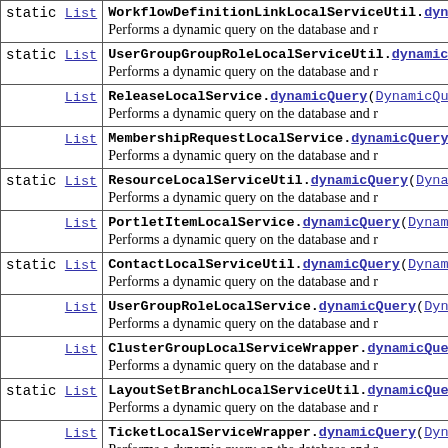| modifier/type | method |
| --- | --- |
| static List | WorkflowDefinitionLinkLocalServiceUtil.dynamicQue...
Performs a dynamic query on the database and r... |
| static List | UserGroupGroupRoleLocalServiceUtil.dynamicQue...
Performs a dynamic query on the database and r... |
| List | ReleaseLocalService.dynamicQuery(DynamicQuery...
Performs a dynamic query on the database and r... |
| List | MembershipRequestLocalService.dynamicQuery(Dy...
Performs a dynamic query on the database and r... |
| static List | ResourceLocalServiceUtil.dynamicQuery(Dynamic...
Performs a dynamic query on the database and r... |
| List | PortletItemLocalService.dynamicQuery(DynamicQ...
Performs a dynamic query on the database and r... |
| static List | ContactLocalServiceUtil.dynamicQuery(DynamicQ...
Performs a dynamic query on the database and r... |
| List | UserGroupRoleLocalService.dynamicQuery(Dynami...
Performs a dynamic query on the database and r... |
| List | ClusterGroupLocalServiceWrapper.dynamicQuery(...
Performs a dynamic query on the database and r... |
| static List | LayoutSetBranchLocalServiceUtil.dynamicQuery(...
Performs a dynamic query on the database and r... |
| List | TicketLocalServiceWrapper.dynamicQuery(Dynami...
Performs a dynamic query on the database and r... |
| List | RoleLocalServiceWrapper.dynamicQuery(Dyna...
... |